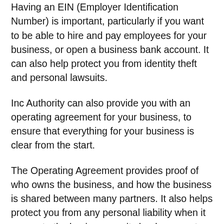Having an EIN (Employer Identification Number) is important, particularly if you want to be able to hire and pay employees for your business, or open a business bank account. It can also help protect you from identity theft and personal lawsuits.
Inc Authority can also provide you with an operating agreement for your business, to ensure that everything for your business is clear from the start.
The Operating Agreement provides proof of who owns the business, and how the business is shared between many partners. It also helps protect you from any personal liability when it comes to the business, as it clearly separates your business and personal assets.